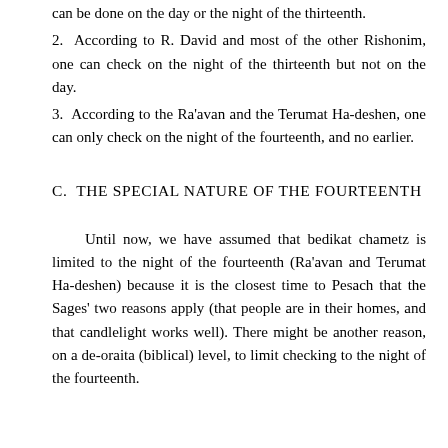can be done on the day or the night of the thirteenth.
2.  According to R. David and most of the other Rishonim, one can check on the night of the thirteenth but not on the day.
3.  According to the Ra'avan and the Terumat Ha-deshen, one can only check on the night of the fourteenth, and no earlier.
C.  THE SPECIAL NATURE OF THE FOURTEENTH
Until now, we have assumed that bedikat chametz is limited to the night of the fourteenth (Ra'avan and Terumat Ha-deshen) because it is the closest time to Pesach that the Sages' two reasons apply (that people are in their homes, and that candlelight works well). There might be another reason, on a de-oraita (biblical) level, to limit checking to the night of the fourteenth.